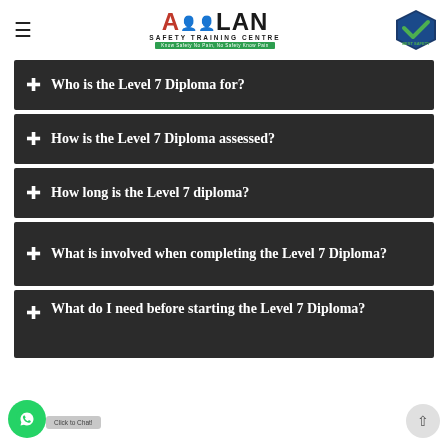Ahlan Safety Training Centre — Best Safety Training Centre LLC
Who is the Level 7 Diploma for?
How is the Level 7 Diploma assessed?
How long is the Level 7 diploma?
What is involved when completing the Level 7 Diploma?
What do I need before starting the Level 7 Diploma?